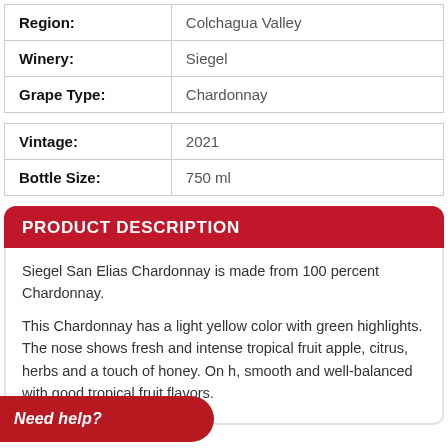| Region: | Colchagua Valley |
| Winery: | Siegel |
| Grape Type: | Chardonnay |
| Vintage: | 2021 |
| Bottle Size: | 750 ml |
PRODUCT DESCRIPTION
Siegel San Elias Chardonnay is made from 100 percent Chardonnay.
This Chardonnay has a light yellow color with green highlights. The nose shows fresh and intense tropical fruit apple, citrus, herbs and a touch of honey. On h, smooth and well-balanced with good tropical fruit flavors.